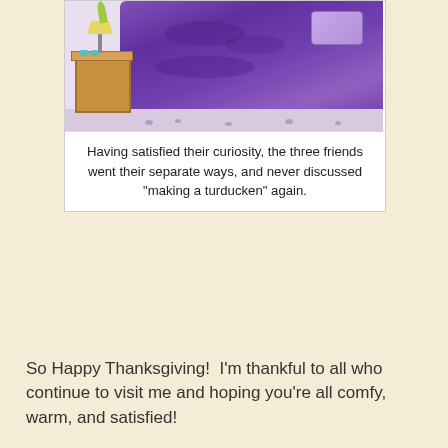[Figure (illustration): Comic illustration showing a bed with purple covers/comforter, a wooden nightstand with a lamp on it, on a light pinkish floor with small pebbles]
Having satisfied their curiosity, the three friends went their separate ways, and never discussed "making a turducken" again.
So Happy Thanksgiving!  I'm thankful to all who continue to visit me and hoping you're all comfy, warm, and satisfied!
.
Abby at 12:37 PM    9 comments:
TUESDAY, NOVEMBER 24, 2015
go do hoodoos
Our Thanksgiving week roadtrip was derailed, but that's